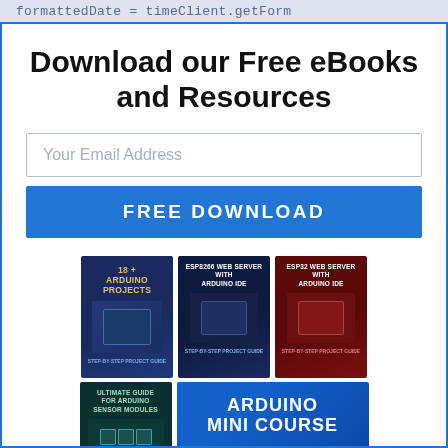formattedDate = timeClient.getForm
Download our Free eBooks and Resources
Your Email Address
FREE DOWNLOAD
[Figure (illustration): Three eBook covers: '18+ Arduino Projects', 'ESP8266 Web Server with Arduino IDE', 'ESP32 Web Server with Arduino IDE', plus 'Ultimate Guide for Arduino Sensor Modules' and 'Arduino Mini Course' with an Arduino board image.]